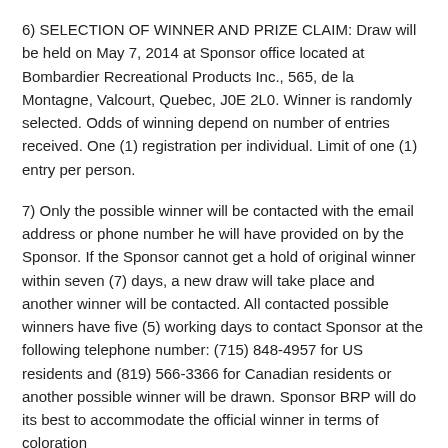6) SELECTION OF WINNER AND PRIZE CLAIM: Draw will be held on May 7, 2014 at Sponsor office located at Bombardier Recreational Products Inc., 565, de la Montagne, Valcourt, Quebec, J0E 2L0. Winner is randomly selected. Odds of winning depend on number of entries received. One (1) registration per individual. Limit of one (1) entry per person.
7) Only the possible winner will be contacted with the email address or phone number he will have provided on by the Sponsor. If the Sponsor cannot get a hold of original winner within seven (7) days, a new draw will take place and another winner will be contacted. All contacted possible winners have five (5) working days to contact Sponsor at the following telephone number: (715) 848-4957 for US residents and (819) 566-3366 for Canadian residents or another possible winner will be drawn. Sponsor BRP will do its best to accommodate the official winner in terms of coloration